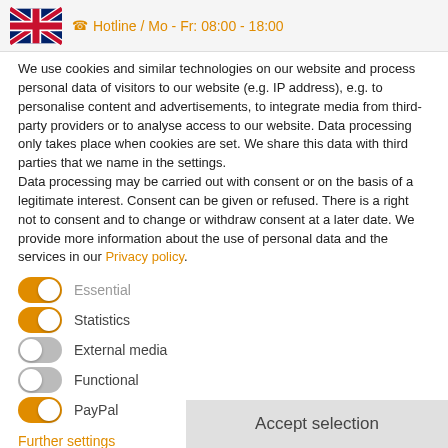Hotline / Mo - Fr: 08:00 - 18:00
We use cookies and similar technologies on our website and process personal data of visitors to our website (e.g. IP address), e.g. to personalise content and advertisements, to integrate media from third-party providers or to analyse access to our website. Data processing only takes place when cookies are set. We share this data with third parties that we name in the settings.
Data processing may be carried out with consent or on the basis of a legitimate interest. Consent can be given or refused. There is a right not to consent and to change or withdraw consent at a later date. We provide more information about the use of personal data and the services in our Privacy policy.
Essential (toggle on)
Statistics (toggle on)
External media (toggle off)
Functional (toggle off)
PayPal (toggle on)
Further settings
Accept selection